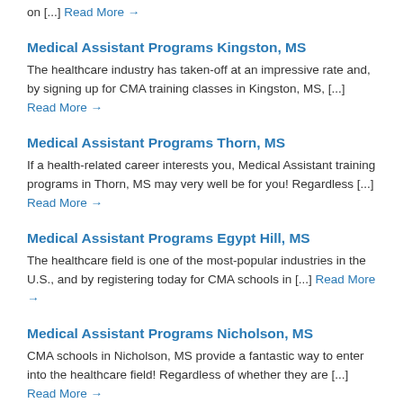on [...] Read More →
Medical Assistant Programs Kingston, MS
The healthcare industry has taken-off at an impressive rate and, by signing up for CMA training classes in Kingston, MS, [...] Read More →
Medical Assistant Programs Thorn, MS
If a health-related career interests you, Medical Assistant training programs in Thorn, MS may very well be for you! Regardless [...] Read More →
Medical Assistant Programs Egypt Hill, MS
The healthcare field is one of the most-popular industries in the U.S., and by registering today for CMA schools in [...] Read More →
Medical Assistant Programs Nicholson, MS
CMA schools in Nicholson, MS provide a fantastic way to enter into the healthcare field! Regardless of whether they are [...] Read More →